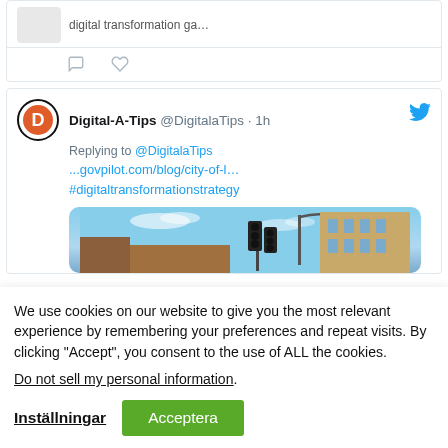[Figure (screenshot): Partial tweet showing truncated text 'digital transformation ga...' with reply and like icons below]
[Figure (screenshot): Tweet by Digital-A-Tips (@DigitalaTips, 1h ago) replying to @DigitalaTips with link ...govpilot.com/blog/city-of-l... and hashtag #digitaltransformationstrategy, with a photo of a city street with traffic lights and a brick building]
We use cookies on our website to give you the most relevant experience by remembering your preferences and repeat visits. By clicking “Accept”, you consent to the use of ALL the cookies.
Do not sell my personal information.
Inställningar
Acceptera